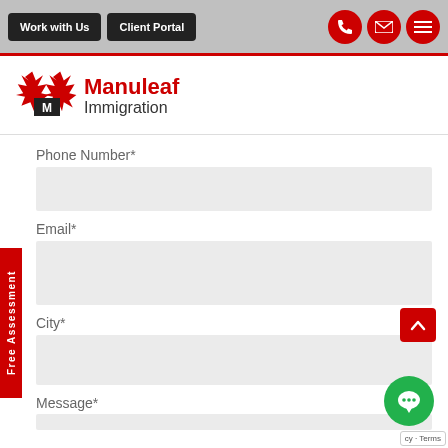Work with Us | Client Portal
[Figure (logo): Manuleaf Immigration logo with red maple leaf icon]
Phone Number*
Email*
City*
Message*
Free Assessment